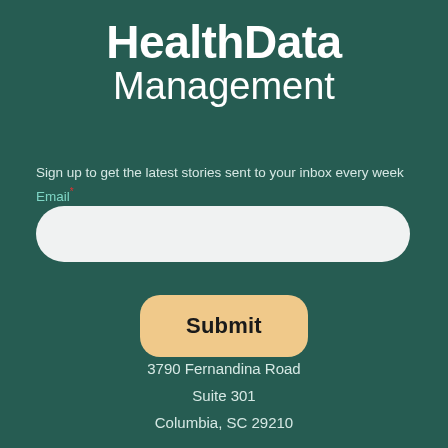HealthData Management
Sign up to get the latest stories sent to your inbox every week
Email*
[Figure (other): Email input text field, rounded rectangle, light grey background]
[Figure (other): Submit button, rounded rectangle, light golden/peach background with bold black text 'Submit']
3790 Fernandina Road
Suite 301
Columbia, SC 29210